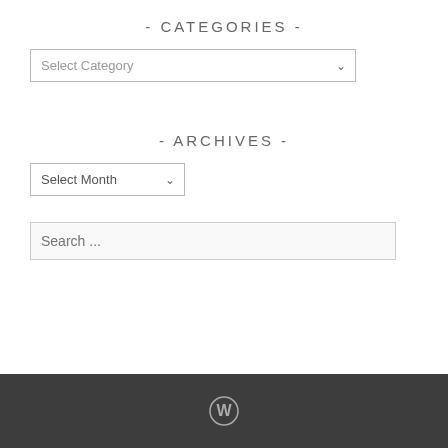- CATEGORIES -
[Figure (other): Select Category dropdown input]
- ARCHIVES -
[Figure (other): Select Month dropdown input]
[Figure (other): Search input field with placeholder 'Search ...']
WordPress logo icon